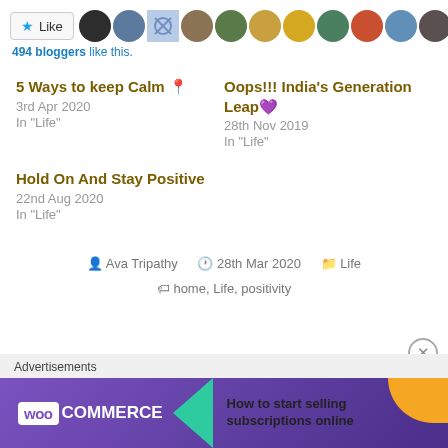[Figure (screenshot): Like button with star icon followed by a row of 11 circular avatar thumbnails of bloggers]
494 bloggers like this.
5 Ways to keep Calm 📍
3rd Apr 2020
In "Life"
Oops!!! India's Generation Leap 💜
28th Nov 2019
In "Life"
Hold On And Stay Positive
22nd Aug 2020
In "Life"
Ava Tripathy  28th Mar 2020  Life
home, Life, positivity
Advertisements
[Figure (screenshot): WooCommerce advertisement banner: purple background with WooCommerce logo, green arrow, and text 'How to start selling subscriptions online']